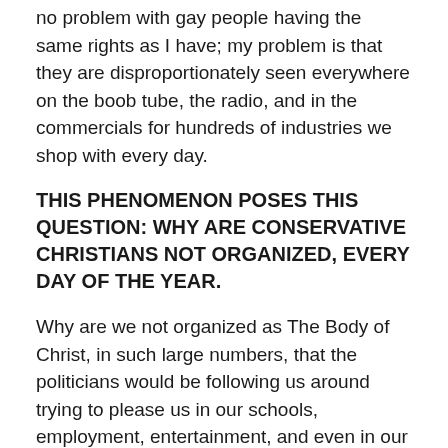no problem with gay people having the same rights as I have; my problem is that they are disproportionately seen everywhere on the boob tube, the radio, and in the commercials for hundreds of industries we shop with every day.
THIS PHENOMENON POSES THIS QUESTION: WHY ARE CONSERVATIVE CHRISTIANS NOT ORGANIZED, EVERY DAY OF THE YEAR.
Why are we not organized as The Body of Christ, in such large numbers, that the politicians would be following us around trying to please us in our schools, employment, entertainment, and even in our churches. Most of the churches I have visited in the last 35 years, were full of old people. As parents and grandparents, we must do a better job of activating our Christian offspring! Christians, as a